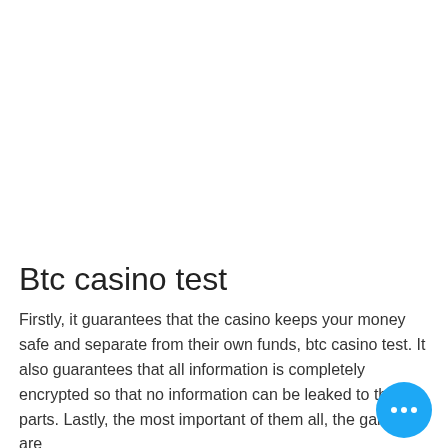Btc casino test
Firstly, it guarantees that the casino keeps your money safe and separate from their own funds, btc casino test. It also guarantees that all information is completely encrypted so that no information can be leaked to third parts. Lastly, the most important of them all, the games are